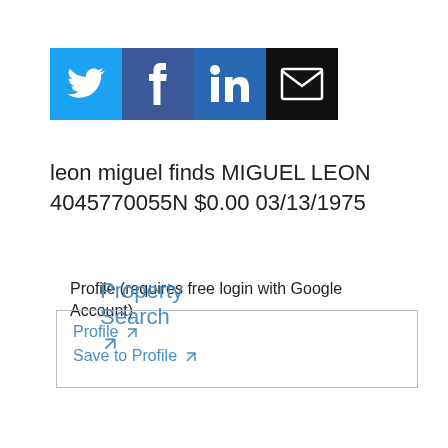[Figure (other): Row of four social sharing icon buttons: Twitter (blue bird), Facebook (dark blue f), LinkedIn (blue in), Email (black envelope)]
leon miguel finds MIGUEL LEON 4045770055N $0.00 03/13/1975
Profile (requires free login with Google Account)
Profile ↗
Save to Profile ↗
Property Search ↗